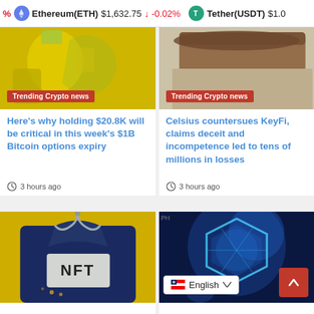% Ethereum(ETH) $1,632.75 ↓ -0.02% Tether(USDT) $1.0
[Figure (screenshot): Cartoon yellow image with characters - Trending Crypto news badge]
[Figure (screenshot): Brown pot/drum image - Trending Crypto news badge]
Here's why holding $20.8K will be critical in this week's $1B Bitcoin options expiry
Celsius countersues KeyFi, claims deceit and incompetence led to tens of millions in losses
3 hours ago
3 hours ago
[Figure (photo): NFT jacket image on yellow background]
[Figure (photo): Crypto hexagon glowing blue illustration]